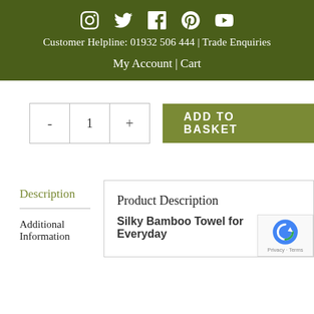Social icons: Instagram, Twitter, Facebook, Pinterest, YouTube | Customer Helpline: 01932 506 444 | Trade Enquiries | My Account | Cart
[Figure (screenshot): Add to basket quantity control with minus, 1, plus buttons and green ADD TO BASKET button]
Description
Additional Information
Product Description
Silky Bamboo Towel for Everyday